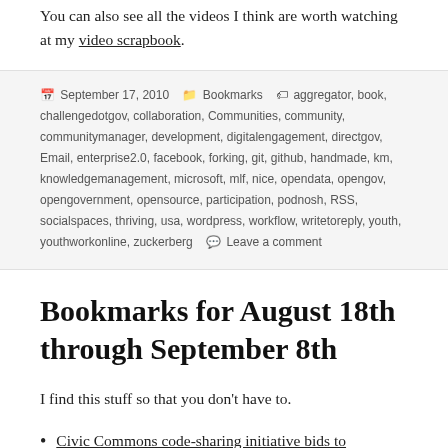You can also see all the videos I think are worth watching at my video scrapbook.
September 17, 2010   Bookmarks   aggregator, book, challengedotgov, collaboration, Communities, community, communitymanager, development, digitalengagement, directgov, Email, enterprise2.0, facebook, forking, git, github, handmade, km, knowledgemanagement, microsoft, mlf, nice, opendata, opengov, opengovernment, opensource, participation, podnosh, RSS, socialspaces, thriving, usa, wordpress, workflow, writetoreply, youth, youthworkonline, zuckerberg   Leave a comment
Bookmarks for August 18th through September 8th
I find this stuff so that you don't have to.
Civic Commons code-sharing initiative bids to